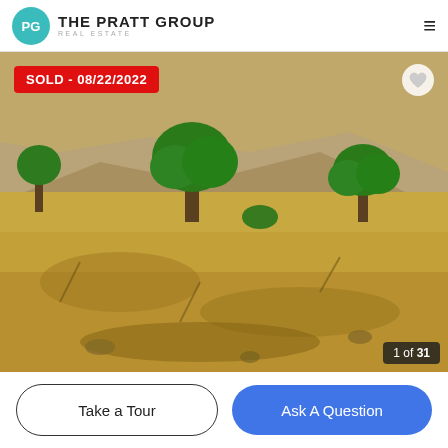[Figure (logo): The Pratt Group Real Estate logo — circular teal icon with 'PG' letters and company name beside it]
[Figure (photo): Outdoor landscape photo showing dry golden grass field with several green trees against rocky hillside. Red 'SOLD - 08/22/2022' badge in top-left corner, heart icon top-right, '1 of 31' counter bottom-right.]
SOLD - 08/22/2022
1 of 31
Take a Tour
Ask A Question